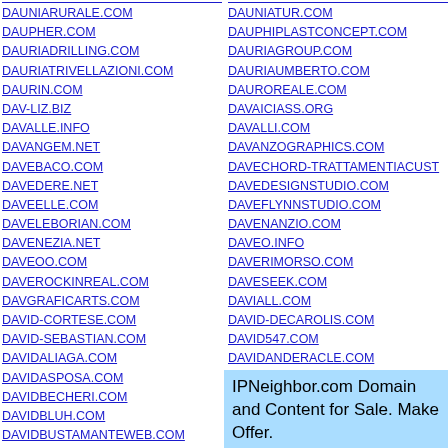DAUNIARURALE.COM
DAUPHER.COM
DAURIADRILLING.COM
DAURIATRIVELLAZIONI.COM
DAURIN.COM
DAV-LIZ.BIZ
DAVALLE.INFO
DAVANGEM.NET
DAVEBACO.COM
DAVEDERE.NET
DAVEELLE.COM
DAVELEBORIAN.COM
DAVENEZIA.NET
DAVEOO.COM
DAVEROCKINREAL.COM
DAVGRAFICARTS.COM
DAVID-CORTESE.COM
DAVID-SEBASTIAN.COM
DAVIDALIAGA.COM
DAVIDASPOSA.COM
DAVIDBECHERI.COM
DAVIDBLUH.COM
DAVIDBUSTAMANTEWEB.COM
DAVIDCARAVAGGIO.COM
DAVIDCIOCCOLO.COM
DAVIDCONATI.COM
DAVIDCP.COM
DAVIDCRISTOBAL.INFO
DAUNIATUR.COM
DAUPHIPLASTCONCEPT.COM
DAURIAGROUP.COM
DAURIAUMBERTO.COM
DAUROREALE.COM
DAVAICIASS.ORG
DAVALLI.COM
DAVANZOGRAPHICS.COM
DAVECHORD-TRATTAMENTIACUST
DAVEDESIGNSTUDIO.COM
DAVEFLYNNSTUDIO.COM
DAVENANZIO.COM
DAVEO.INFO
DAVERIMORSO.COM
DAVESEEK.COM
DAVIALL.COM
DAVID-DECAROLIS.COM
DAVID547.COM
DAVIDANDERACLE.COM
DAVIDBALDINI.COM
DAVIDBELLUGI.COM
DAVIDBORRULL.NET
DAVIDCALABRIA.COM
IPNeighbor.com Domain and Content for Sale. Make Offer. Click Here for Info